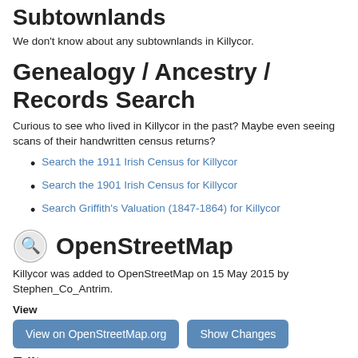Subtownlands
We don't know about any subtownlands in Killycor.
Genealogy / Ancestry / Records Search
Curious to see who lived in Killycor in the past? Maybe even seeing scans of their handwritten census returns?
Search the 1911 Irish Census for Killycor
Search the 1901 Irish Census for Killycor
Search Griffith's Valuation (1847-1864) for Killycor
OpenStreetMap
Killycor was added to OpenStreetMap on 15 May 2015 by Stephen_Co_Antrim.
View
View on OpenStreetMap.org
Show Changes
Edit